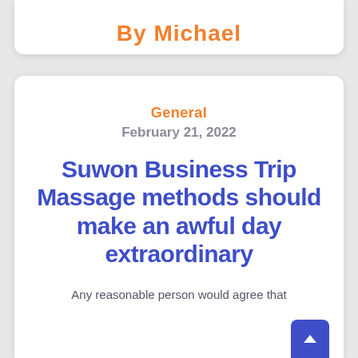By Michael
General
February 21, 2022
Suwon Business Trip Massage methods should make an awful day extraordinary
Any reasonable person would agree that